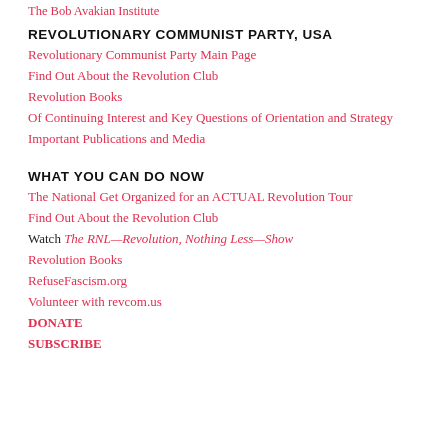The Bob Avakian Institute
REVOLUTIONARY COMMUNIST PARTY, USA
Revolutionary Communist Party Main Page
Find Out About the Revolution Club
Revolution Books
Of Continuing Interest and Key Questions of Orientation and Strategy
Important Publications and Media
WHAT YOU CAN DO NOW
The National Get Organized for an ACTUAL Revolution Tour
Find Out About the Revolution Club
Watch The RNL—Revolution, Nothing Less—Show
Revolution Books
RefuseFascism.org
Volunteer with revcom.us
DONATE
SUBSCRIBE